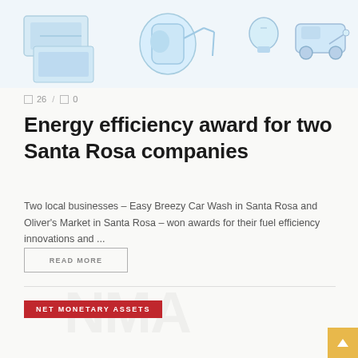[Figure (illustration): Top banner illustration showing financial/energy icons including money, a watering can, a lightbulb, and a car with plug, in light blue tones on white background]
26 / 0
Energy efficiency award for two Santa Rosa companies
Two local businesses – Easy Breezy Car Wash in Santa Rosa and Oliver's Market in Santa Rosa – won awards for their fuel efficiency innovations and ...
READ MORE
NET MONETARY ASSETS
[Figure (illustration): Faint watermark background text and a gold back-to-top arrow button at bottom right]